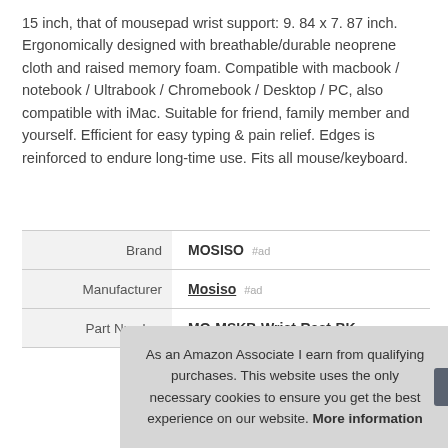15 inch, that of mousepad wrist support: 9. 84 x 7. 87 inch. Ergonomically designed with breathable/durable neoprene cloth and raised memory foam. Compatible with macbook / notebook / Ultrabook / Chromebook / Desktop / PC, also compatible with iMac. Suitable for friend, family member and yourself. Efficient for easy typing & pain relief. Edges is reinforced to endure long-time use. Fits all mouse/keyboard.
|  |  |
| --- | --- |
| Brand | MOSISO #ad |
| Manufacturer | Mosiso #ad |
| Part Number | MO-MSKB-Wrist-Rest-BK |
As an Amazon Associate I earn from qualifying purchases. This website uses the only necessary cookies to ensure you get the best experience on our website. More information